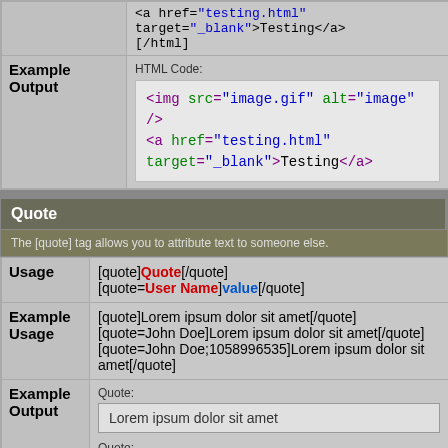|  |  |
| --- | --- |
|  | <a href="testing.html" target="_blank">Testing</a>
[/html] |
| Example Output | HTML Code:
<img src="image.gif" alt="image" />
<a href="testing.html" target="_blank">Testing</a> |
Quote
The [quote] tag allows you to attribute text to someone else.
|  |  |
| --- | --- |
| Usage | [quote]Quote[/quote]
[quote=User Name]value[/quote] |
| Example Usage | [quote]Lorem ipsum dolor sit amet[/quote]
[quote=John Doe]Lorem ipsum dolor sit amet[/quote]
[quote=John Doe;1058996535]Lorem ipsum dolor sit amet[/quote] |
| Example Output | Quote:
Lorem ipsum dolor sit amet

Quote:
Originally Posted by John Doe |